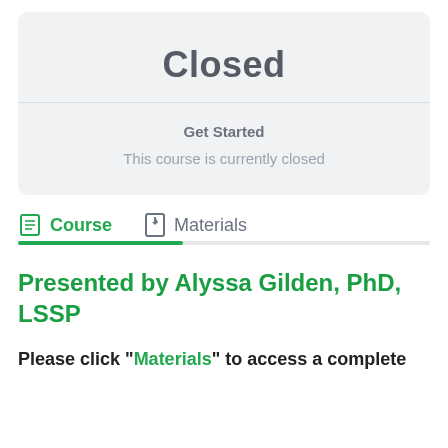Closed
Get Started
This course is currently closed
Course   Materials
Presented by Alyssa Gilden, PhD, LSSP
Please click “Materials” to access a complete